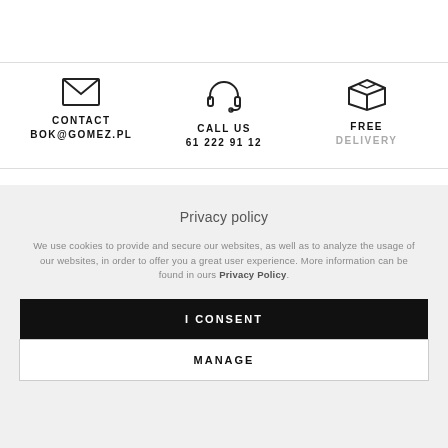[Figure (infographic): Three icons in a row: envelope icon labeled CONTACT BOK@GOMEZ.PL, headset icon labeled CALL US 61 222 91 12, box/package icon labeled FREE DELIVERY]
Privacy policy
We use cookies to provide and secure our websites, as well as to analyze the usage of our websites, in order to offer you a great user experience. More information can be found in ours Privacy Policy.
I CONSENT
MANAGE